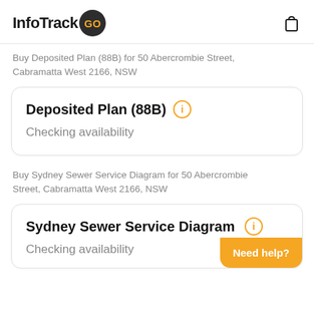InfoTrack GO
Buy Deposited Plan (88B) for 50 Abercrombie Street, Cabramatta West 2166, NSW
Deposited Plan (88B)
Checking availability
Buy Sydney Sewer Service Diagram for 50 Abercrombie Street, Cabramatta West 2166, NSW
Sydney Sewer Service Diagram
Checking availability
Need help?